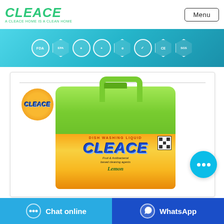CLEACE — A CLEACE HOME IS A CLEAN HOME | Menu
[Figure (infographic): Teal banner with certification badges: FDA, EPA, and various standard certification hexagon/circle badges including CE and SGS]
[Figure (photo): CLEACE dish washing liquid product - green plastic container with orange/yellow label showing CLEACE brand name, Fruit & Antibacterial based cleaning agents, Lemon scent. Orange circle badge with CLEACE logo in top left.]
Chat online
WhatsApp